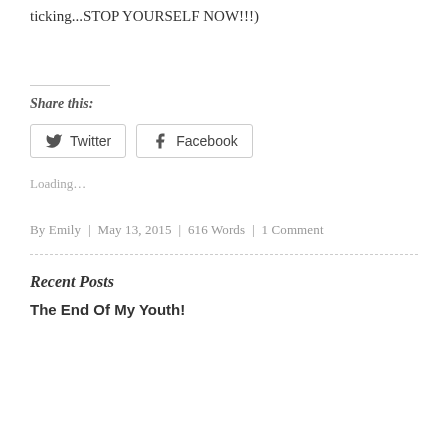ticking...STOP YOURSELF NOW!!!)
Share this:
Twitter | Facebook
Loading...
By Emily | May 13, 2015 | 616 Words | 1 Comment
Recent Posts
The End Of My Youth!